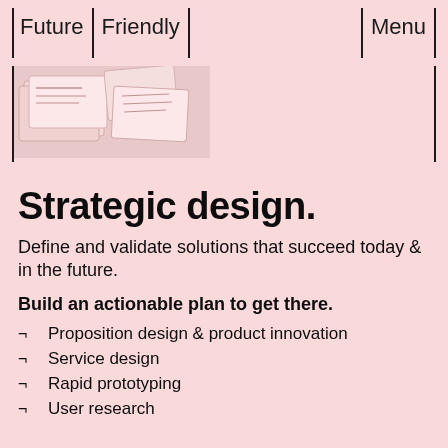Future | Friendly | Menu
[Figure (photo): Close-up photo of papers/cards with printed text on a light pink background]
Strategic design.
Define and validate solutions that succeed today & in the future.
Build an actionable plan to get there.
Proposition design & product innovation
Service design
Rapid prototyping
User research